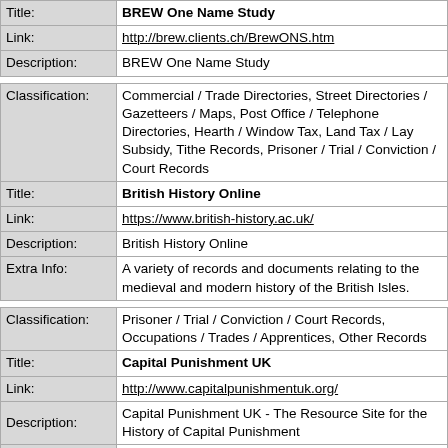| Field | Value |
| --- | --- |
| Title: | BREW One Name Study |
| Link: | http://brew.clients.ch/BrewONS.htm |
| Description: | BREW One Name Study |
| Field | Value |
| --- | --- |
| Classification: | Commercial / Trade Directories, Street Directories / Gazetteers / Maps, Post Office / Telephone Directories, Hearth / Window Tax, Land Tax / Lay Subsidy, Tithe Records, Prisoner / Trial / Conviction / Court Records |
| Title: | British History Online |
| Link: | https://www.british-history.ac.uk/ |
| Description: | British History Online |
| Extra Info: | A variety of records and documents relating to the medieval and modern history of the British Isles. |
| Field | Value |
| --- | --- |
| Classification: | Prisoner / Trial / Conviction / Court Records, Occupations / Trades / Apprentices, Other Records |
| Title: | Capital Punishment UK |
| Link: | http://www.capitalpunishmentuk.org/ |
| Description: | Capital Punishment UK - The Resource Site for the History of Capital Punishment |
| Extra Info: | Includes the histories of 'hanging' prisons |